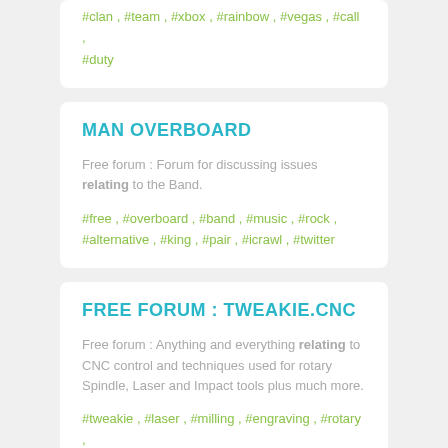#clan , #team , #xbox , #rainbow , #vegas , #call , #duty
MAN OVERBOARD
Free forum : Forum for discussing issues relating to the Band.
#free , #overboard , #band , #music , #rock , #alternative , #king , #pair , #icrawl , #twitter
FREE FORUM : TWEAKIE.CNC
Free forum : Anything and everything relating to CNC control and techniques used for rotary Spindle, Laser and Impact tools plus much more.
#tweakie , #laser , #milling , #engraving , #rotary , #spindle , #impact , #mach3 , #mach4 , #stepper , #motor , #qcode , #lithophane